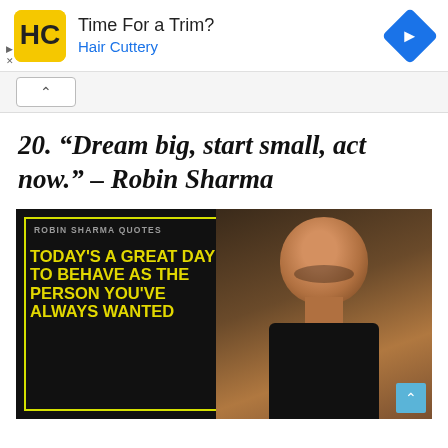[Figure (screenshot): Hair Cuttery advertisement banner with yellow logo, 'Time For a Trim?' heading, 'Hair Cuttery' subheading in blue, and a blue diamond navigation icon]
[Figure (other): Collapse/minimize bar with upward caret button]
20. “Dream big, start small, act now.” – Robin Sharma
[Figure (photo): Robin Sharma Quotes image: black background with yellow bordered box, text 'ROBIN SHARMA QUOTES' in small gray caps, large yellow bold text 'TODAY'S A GREAT DAY TO BEHAVE AS THE PERSON YOU'VE ALWAYS WANTED', and a photo of Robin Sharma (bald man) on the right side]